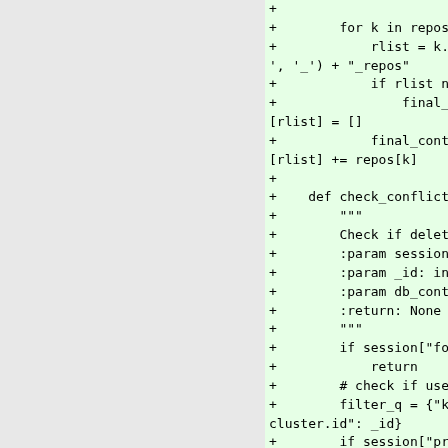[Figure (screenshot): Code diff view showing Python code additions (green background) with line continuations. Code includes a for loop over repos, building rlist, checking final_content, and a check_conflict_on function with docstring parameters. Lines are prefixed with '+' indicating additions. The right panel shows truncated code lines on a green background, left panel is gray/empty.]